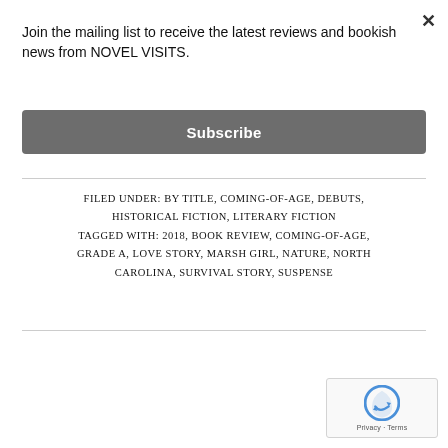Join the mailing list to receive the latest reviews and bookish news from NOVEL VISITS.
Subscribe
FILED UNDER: BY TITLE, COMING-OF-AGE, DEBUTS, HISTORICAL FICTION, LITERARY FICTION
TAGGED WITH: 2018, BOOK REVIEW, COMING-OF-AGE, GRADE A, LOVE STORY, MARSH GIRL, NATURE, NORTH CAROLINA, SURVIVAL STORY, SUSPENSE
[Figure (logo): reCAPTCHA logo with Privacy - Terms text]